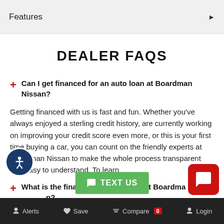Features
DEALER FAQS
Can I get financed for an auto loan at Boardman Nissan?
Getting financed with us is fast and fun. Whether you've always enjoyed a sterling credit history, are currently working on improving your credit score even more, or this is your first time buying a car, you can count on the friendly experts at Boardman Nissan to make the whole process transparent and easy to understand. To learn
What is the financing process like at Boardman Nissan?
What are the steps in the financing process at
Alerts  Save  Compare 0  Login